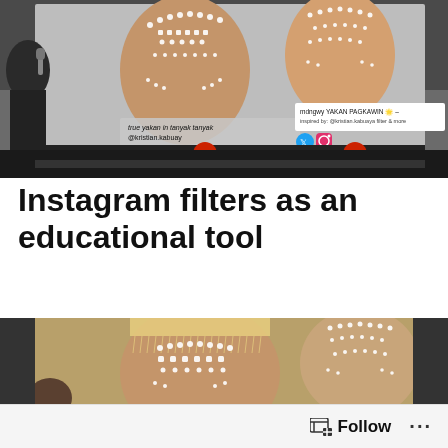[Figure (photo): Projected screen showing two faces with Yakan traditional decorative dot-pattern AR Instagram filter overlaid. 'true yakan in tanyak tanyak @kristian.kabuay' and 'mdngwy YAKAN PAGKAWIN – inspired by: @kristian.kabuaya filter & more' text visible on screen. GA logo banner visible at bottom of projection screen. Speaker silhouetted on left.]
Instagram filters as an educational tool
[Figure (photo): Close-up of projected screen showing two faces with intricate white dot-pattern traditional Yakan decorative AR Instagram filter overlaid on faces. Warm beige/tan background.]
Follow ...